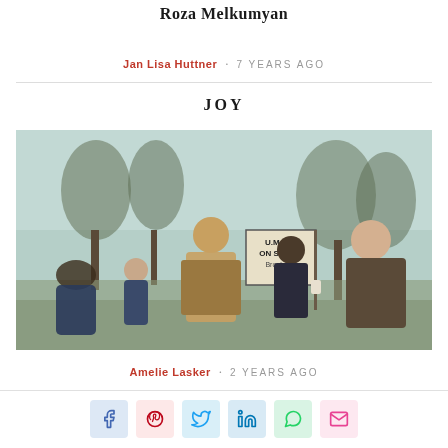Roza Melkumyan
Jan Lisa Huttner · 7 YEARS AGO
JOY
[Figure (photo): Black and white/color vintage photo of workers on a picket line with a U.M.W.A. ON STRIKE Brookside sign. Several people including men and women standing outdoors near trees in overcast weather.]
Amelie Lasker · 2 YEARS AGO
[Figure (infographic): Social media share buttons row: Facebook (blue), Pinterest (red/pink), Twitter (light blue), LinkedIn (blue), WhatsApp (green), Email (pink)]